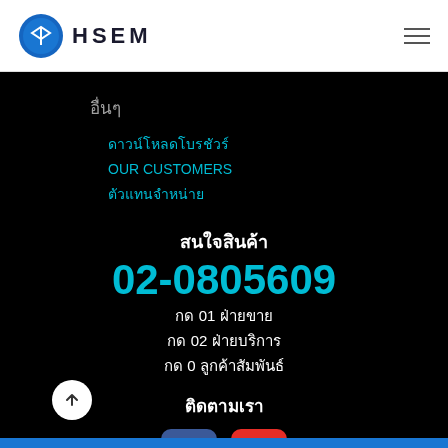HSEM logo and navigation
อื่นๆ
ดาวน์โหลดโบรชัวร์
OUR CUSTOMERS
ตัวแทนจำหน่าย
สนใจสินค้า
02-0805609
กด 01 ฝ่ายขาย
กด 02 ฝ่ายบริการ
กด 0 ลูกค้าสัมพันธ์
ติดตามเรา
[Figure (logo): Facebook and YouTube social media buttons]